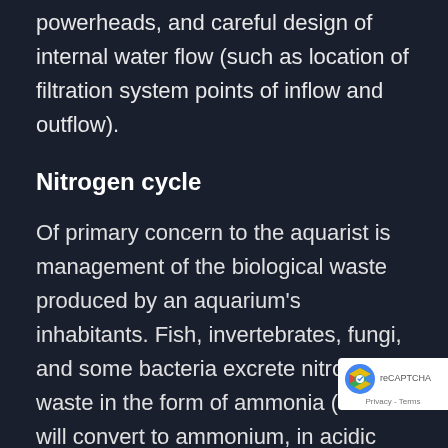the use of aeration from air pumps, powerheads, and careful design of internal water flow (such as location of filtration system points of inflow and outflow).
Nitrogen cycle
Of primary concern to the aquarist is management of the biological waste produced by an aquarium's inhabitants. Fish, invertebrates, fungi, and some bacteria excrete nitrogen waste in the form of ammonia (which will convert to ammonium, in acidic water) and must then pass through the nitrogen cycle.
[Figure (logo): reCAPTCHA badge with logo and Privacy - Terms text]